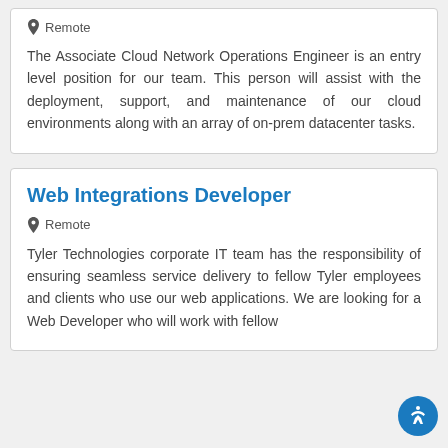Remote
The Associate Cloud Network Operations Engineer is an entry level position for our team. This person will assist with the deployment, support, and maintenance of our cloud environments along with an array of on-prem datacenter tasks.
Web Integrations Developer
Remote
Tyler Technologies corporate IT team has the responsibility of ensuring seamless service delivery to fellow Tyler employees and clients who use our web applications. We are looking for a Web Developer who will work with fellow